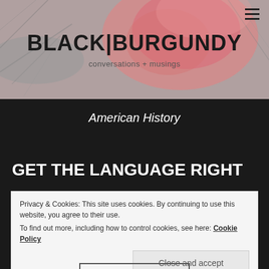[Figure (photo): Website header hero image with a blurred floral/botanical background in pink and grey tones. Menu hamburger icon in top right.]
BLACK|BURGUNDY
conversations + musings
American History
GET THE LANGUAGE RIGHT
Privacy & Cookies: This site uses cookies. By continuing to use this website, you agree to their use.
To find out more, including how to control cookies, see here: Cookie Policy
Close and accept